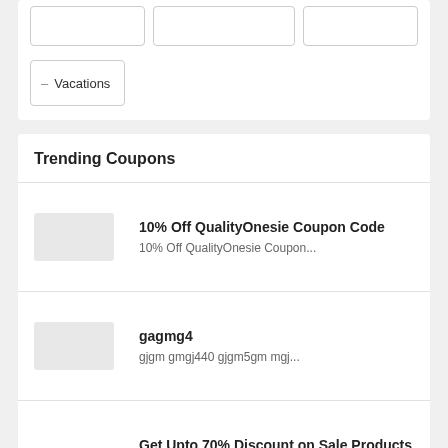[Figure (screenshot): Top navigation row with three button placeholders]
Vacations
Trending Coupons
10% Off QualityOnesie Coupon Code
10% Off QualityOnesie Coupon...
gagmg4
gjgm gmgj440 gjgm5gm mgj...
Get Upto 70% Discount on Sale Products
Save upto 70% on...